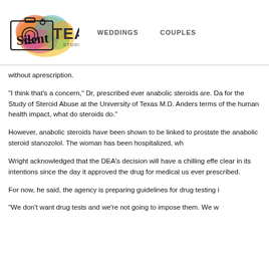Silent Tea Studio — WEDDINGS   COUPLES
without aprescription.
"I think that's a concern," Dr, prescribed ever anabolic steroids are. Da for the Study of Steroid Abuse at the University of Texas M.D. Anders terms of the human health impact, what do steroids do."
However, anabolic steroids have been shown to be linked to prostate the anabolic steroid stanozolol. The woman has been hospitalized, wh
Wright acknowledged that the DEA's decision will have a chilling effe clear in its intentions since the day it approved the drug for medical us ever prescribed.
For now, he said, the agency is preparing guidelines for drug testing i
"We don't want drug tests and we're not going to impose them. We w